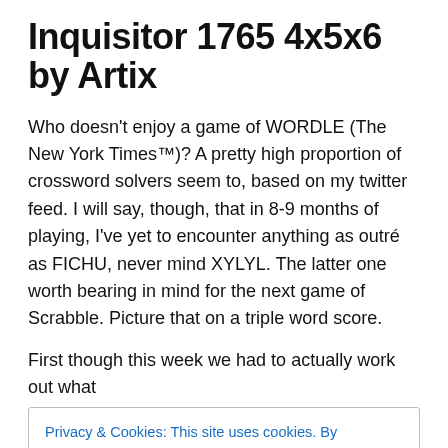Inquisitor 1765 4x5x6 by Artix
Who doesn’t enjoy a game of WORDLE (The New York Times™)? A pretty high proportion of crossword solvers seem to, based on my twitter feed. I will say, though, that in 8-9 months of playing, I’ve yet to encounter anything as outré as FICHU, never mind XYLYL. The latter one worth bearing in mind for the next game of Scrabble. Picture that on a triple word score.
First though this week we had to actually work out what
Privacy & Cookies: This site uses cookies. By continuing to use this website, you agree to their use.
To find out more, including how to control cookies, see here: Cookie Policy
Close and accept
clues, even the ones I struggled with. The latter may have